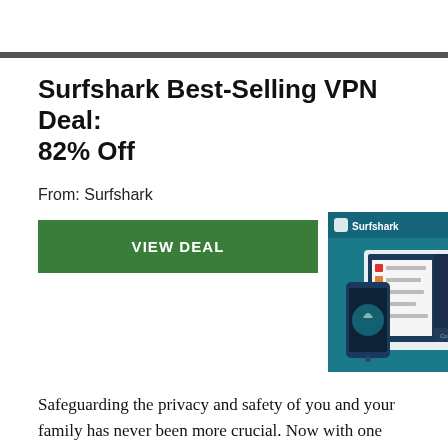Surfshark Best-Selling VPN Deal: 82% Off
From: Surfshark
VIEW DEAL
[Figure (screenshot): Surfshark VPN app screenshot showing a laptop and phone with the Surfshark interface, teal/dark blue color scheme. Badge showing number 18.]
Safeguarding the privacy and safety of you and your family has never been more crucial. Now with one Surfshark subscription for just £1.59/month, you can access the open internet while staying private with our